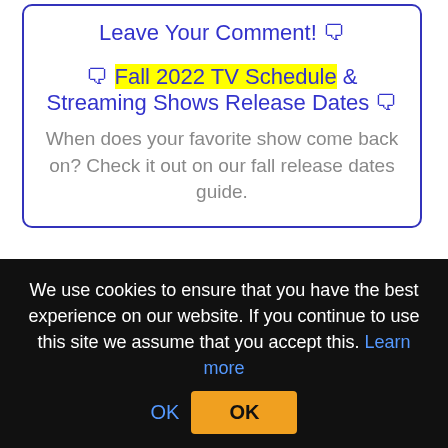Leave Your Comment! 🗨
🗨 Fall 2022 TV Schedule & Streaming Shows Release Dates 🗨
When does your favorite show come back on? Check it out on our fall release dates guide.
Show Information
We use cookies to ensure that you have the best experience on our website. If you continue to use this site we assume that you accept this. Learn more
OK